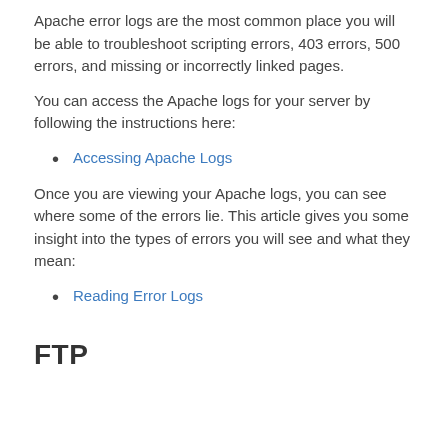Apache error logs are the most common place you will be able to troubleshoot scripting errors, 403 errors, 500 errors, and missing or incorrectly linked pages.
You can access the Apache logs for your server by following the instructions here:
Accessing Apache Logs
Once you are viewing your Apache logs, you can see where some of the errors lie. This article gives you some insight into the types of errors you will see and what they mean:
Reading Error Logs
FTP